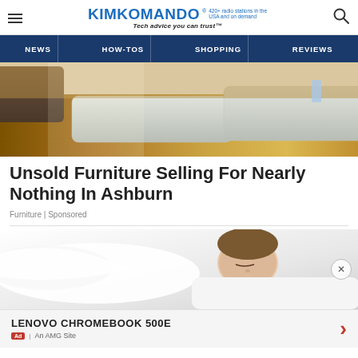KIMKOMANDO® 420+ radio stations in the USA and on demand Tech advice you can trust™
NEWS | HOW-TOS | SHOPPING | REVIEWS
[Figure (photo): Photo of white upholstered ottomans on a hardwood floor]
Unsold Furniture Selling For Nearly Nothing In Ashburn
Furniture | Sponsored
[Figure (photo): Ad image of a person sleeping on white pillows/bedding]
LENOVO CHROMEBOOK 500E
Ad | An AMG Site